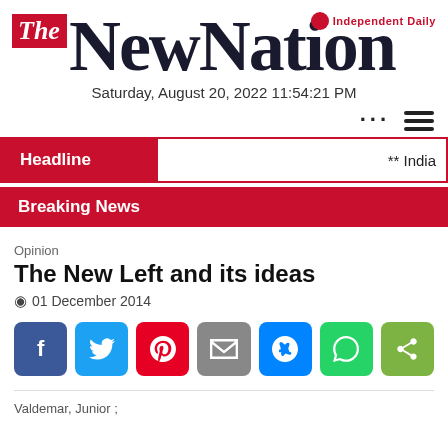The New Nation — Independent Daily
Saturday, August 20, 2022 11:54:21 PM
Headline ** India
Breaking News
Opinion
The New Left and its ideas
01 December 2014
Valdemar, Junior ;